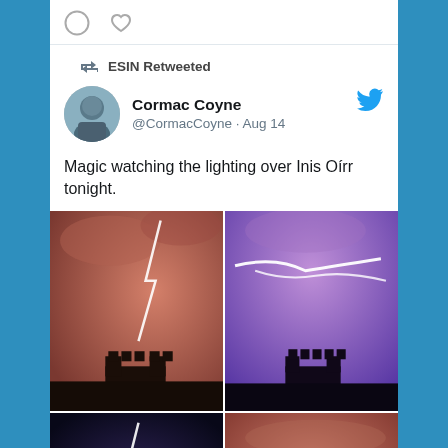[Figure (screenshot): Twitter/social media card showing a retweet by ESIN of Cormac Coyne's tweet about lightning over Inis Oírr, with four lightning storm photos arranged in a 2x2 grid.]
ESIN Retweeted
Cormac Coyne @CormacCoyne · Aug 14
Magic watching the lighting over Inis Oírr tonight.